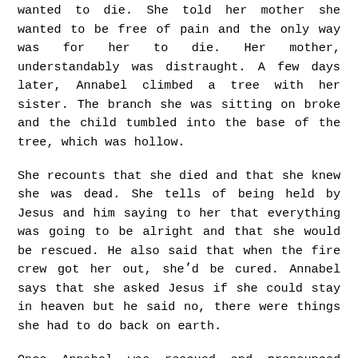wanted to die. She told her mother she wanted to be free of pain and the only way was for her to die. Her mother, understandably was distraught. A few days later, Annabel climbed a tree with her sister. The branch she was sitting on broke and the child tumbled into the base of the tree, which was hollow.
She recounts that she died and that she knew she was dead. She tells of being held by Jesus and him saying to her that everything was going to be alright and that she would be rescued. He also said that when the fire crew got her out, she'd be cured. Annabel says that she asked Jesus if she could stay in heaven but he said no, there were things she had to do back on earth.
Once Annabel was rescued and pronounced alive, her symptoms began to recede and the need for medication reduced until she was completely well. Annabel's story has been turned into a book by her mother and is now a movie,